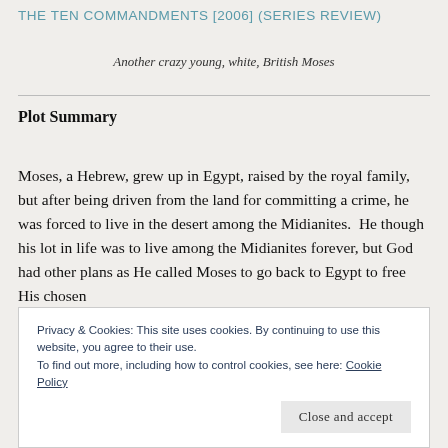THE TEN COMMANDMENTS [2006] (SERIES REVIEW)
Another crazy young, white, British Moses
Plot Summary
Moses, a Hebrew, grew up in Egypt, raised by the royal family, but after being driven from the land for committing a crime, he was forced to live in the desert among the Midianites.  He though his lot in life was to live among the Midianites forever, but God had other plans as He called Moses to go back to Egypt to free His chosen
Privacy & Cookies: This site uses cookies. By continuing to use this website, you agree to their use.
To find out more, including how to control cookies, see here: Cookie Policy
Close and accept